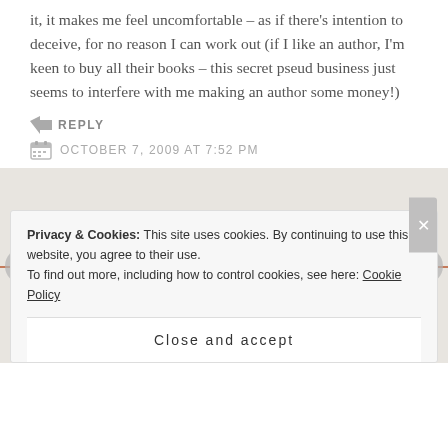it, it makes me feel uncomfortable – as if there's intention to deceive, for no reason I can work out (if I like an author, I'm keen to buy all their books – this secret pseud business just seems to interfere with me making an author some money!)
↪ REPLY
OCTOBER 7, 2009 AT 7:52 PM
[Figure (screenshot): Blog comment section carousel with avatar image, navigation arrows, and cookie consent banner. Cookie banner reads: Privacy & Cookies: This site uses cookies. By continuing to use this website, you agree to their use. To find out more, including how to control cookies, see here: Cookie Policy. With a Close and accept button.]
Privacy & Cookies: This site uses cookies. By continuing to use this website, you agree to their use.
To find out more, including how to control cookies, see here: Cookie Policy
Close and accept